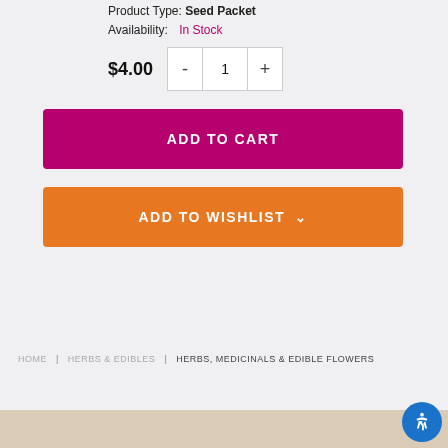Product Type: Seed Packet
Availability: In Stock
$4.00  -  1  +
ADD TO CART
ADD TO WISHLIST
HOME | HERBS & EDIBLES | HERBS, MEDICINALS & EDIBLE FLOWERS